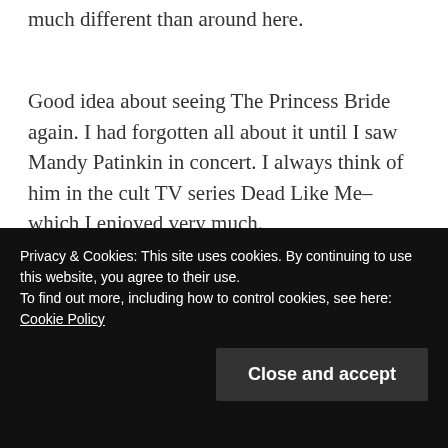much different than around here.
Good idea about seeing The Princess Bride again. I had forgotten all about it until I saw Mandy Patinkin in concert. I always think of him in the cult TV series Dead Like Me– which I enjoyed very much.
★ Like
Privacy & Cookies: This site uses cookies. By continuing to use this website, you agree to their use.
To find out more, including how to control cookies, see here: Cookie Policy
Close and accept